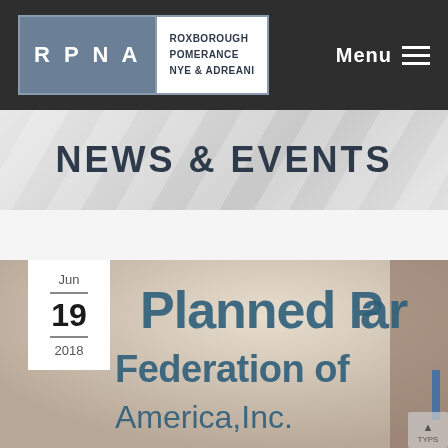[Figure (logo): RPNA law firm logo with text ROXBOROUGH POMERANCE NYE & ADREANI]
Menu
NEWS & EVENTS
[Figure (photo): Photo of Planned Parenthood Federation of America, Inc. sign on a wall, with a date badge showing Jun 19 2018 overlaid on the bottom-left corner]